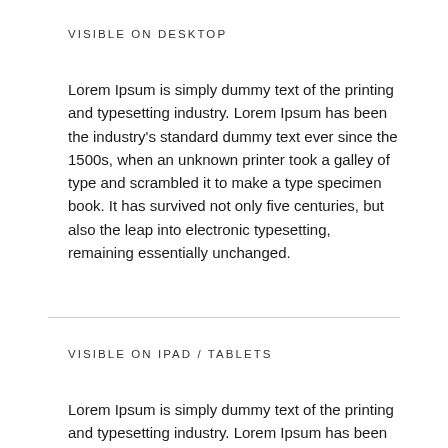VISIBLE ON DESKTOP
Lorem Ipsum is simply dummy text of the printing and typesetting industry. Lorem Ipsum has been the industry's standard dummy text ever since the 1500s, when an unknown printer took a galley of type and scrambled it to make a type specimen book. It has survived not only five centuries, but also the leap into electronic typesetting, remaining essentially unchanged.
VISIBLE ON IPAD / TABLETS
Lorem Ipsum is simply dummy text of the printing and typesetting industry. Lorem Ipsum has been the industry's standard dummy text ever since the 1500s,